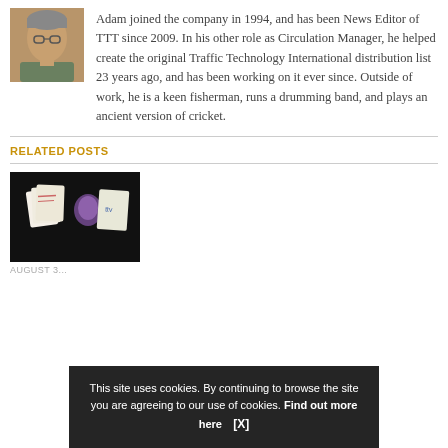[Figure (photo): Headshot of a man with glasses and gray hair]
Adam joined the company in 1994, and has been News Editor of TTT since 2009. In his other role as Circulation Manager, he helped create the original Traffic Technology International distribution list 23 years ago, and has been working on it ever since. Outside of work, he is a keen fisherman, runs a drumming band, and plays an ancient version of cricket.
RELATED POSTS
[Figure (photo): Related post thumbnail image with dark background showing small colorful cards/papers]
AUGUST 3...
This site uses cookies. By continuing to browse the site you are agreeing to our use of cookies. Find out more here    [X]